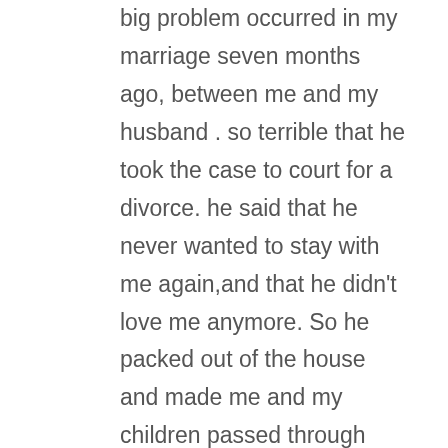big problem occurred in my marriage seven months ago, between me and my husband . so terrible that he took the case to court for a divorce. he said that he never wanted to stay with me again,and that he didn't love me anymore. So he packed out of the house and made me and my children passed through severe pain. I tried all my possible means to get him back,after much begging,but all to no avail.and he confirmed it that he has made his decision,and he never wanted to see me again. So on one evening,as i was coming back from work,i met an old friend of mine who asked of my husband .So i explained every thing to him,so he told me that the only way i can get my husband back,is to visit a priest,because it